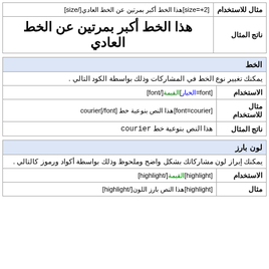| مثال للاستخدام |  |
| --- | --- |
| مثال للاستخدام | [size=+2]هذا الخط أكبر بمرتين عن الخط العادي[/size] |
| ناتج المثال | هذا الخط أكبر بمرتين عن الخط العادي |
| الخط |
| --- |
|  | يمكنك تغيير نوع الخط في المشاركات وذلك بواسطة الكود التالي . |
| الاستخدام | [font=الخيار]القيمة[/font] |
| مثال للاستخدام | [font=courier]هذا النص بنوعية خط courier[/font] |
| ناتج المثال | هذا النص بنوعية خط courier |
| لون بارز |
| --- |
|  | يمكنك إبراز لون مشاركاتك بشكل واضح وملحوظ وذلك بواسطة أكواد ورموز كالتالي . |
| الاستخدام | [highlight]القيمة[/highlight] |
| مثال | [highlight]هذا النص بارز اللون[/highlight] |